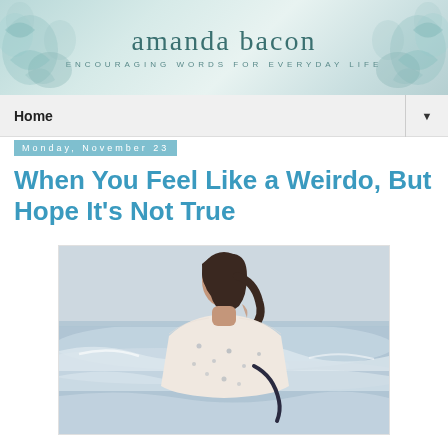amanda bacon — ENCOURAGING WORDS FOR EVERYDAY LIFE
Home
Monday, November 23
When You Feel Like a Weirdo, But Hope It's Not True
[Figure (photo): Young woman with dark hair in a floral top seen from behind, looking out at the ocean or sea with waves visible in the background, overcast sky.]